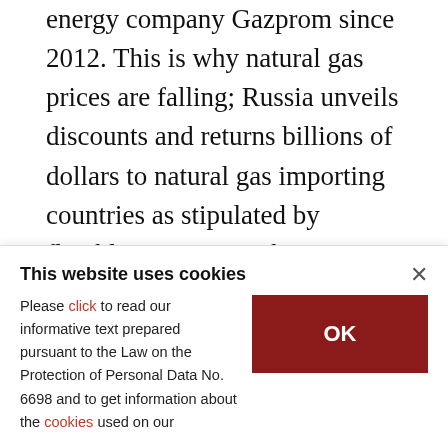energy company Gazprom since 2012. This is why natural gas prices are falling; Russia unveils discounts and returns billions of dollars to natural gas importing countries as stipulated by flexible contracts. When Russia envisaged the GECF as an equivalent to the OPEC in natural gas, it thought that the GECF would help it supervise countries that produce high amounts of natural gas, such as Qatar, and determine the LNG supply in terms of amount and price. Considering that Qatar produces LNG, Russia left the U.S. market for
This website uses cookies
Please click to read our informative text prepared pursuant to the Law on the Protection of Personal Data No. 6698 and to get information about the cookies used on our